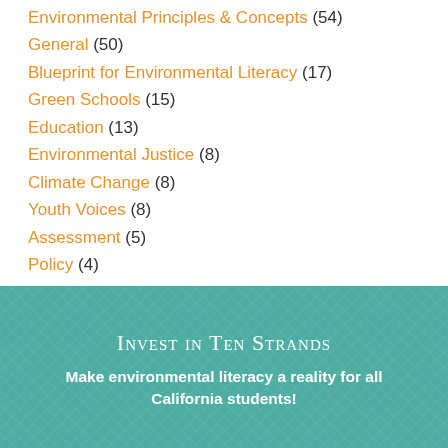Environmental Principles & Concepts (54)
General (50)
Blueprint for Environmental Literacy (17)
Green Schools (15)
Education (13)
Environmental Justice (8)
Climate Change (8)
Youth Voices (8)
Assessment (5)
Policy (4)
Advocacy (4)
Career Technical Education (3)
Invest in Ten Strands
Make environmental literacy a reality for all California students!